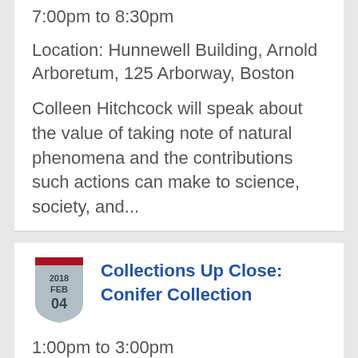7:00pm to 8:30pm
Location: Hunnewell Building, Arnold Arboretum, 125 Arborway, Boston
Colleen Hitchcock will speak about the value of taking note of natural phenomena and the contributions such actions can make to science, society, and...
[Figure (illustration): Shield/badge calendar icon showing 2018 FEB 04]
Collections Up Close: Conifer Collection
1:00pm to 3:00pm
Location: Conifer Collection, Arnold Arboretum, 125 Arborway, Boston